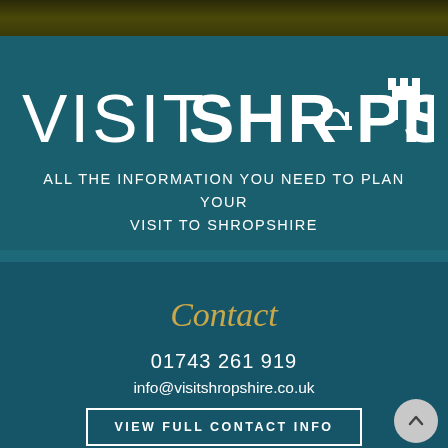[Figure (photo): Dark olive/brown textured background at top of page (landscape/foliage)]
VISIT SHROPSHIRE
ALL THE INFORMATION YOU NEED TO PLAN YOUR VISIT TO SHROPSHIRE
Contact
01743 261 919
info@visitshropshire.co.uk
VIEW FULL CONTACT INFO